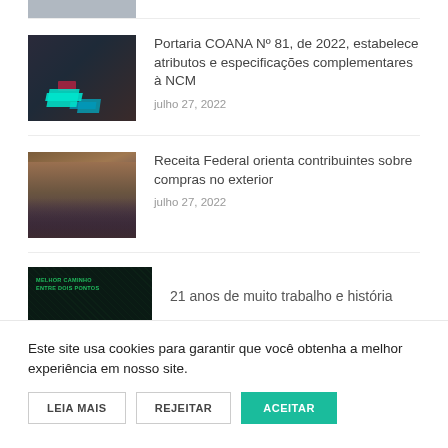[Figure (photo): Cropped top portion of an image, partially visible]
[Figure (photo): Person handling small toy airplane and package on dark table with teal highlights]
Portaria COANA Nº 81, de 2022, estabelece atributos e especificações complementares à NCM
julho 27, 2022
[Figure (photo): People sitting with shopping bags, warm and purple tones]
Receita Federal orienta contribuintes sobre compras no exterior
julho 27, 2022
[Figure (photo): Dark card with green text reading MELHOR CAMINHO ENTRE DOIS PONTOS and icon]
21 anos de muito trabalho e história
Este site usa cookies para garantir que você obtenha a melhor experiência em nosso site.
LEIA MAIS    REJEITAR    ACEITAR